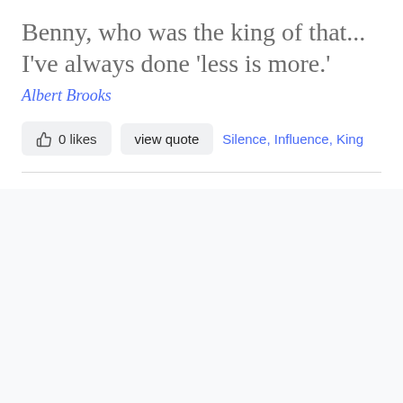Benny, who was the king of that... I've always done 'less is more.'
Albert Brooks
0 likes   view quote   Silence, Influence, King